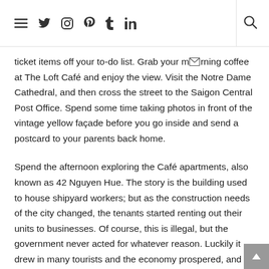[Navigation icons: menu, twitter, instagram, pinterest, tumblr, linkedin] [search icon]
ticket items off your to-do list. Grab your morning coffee at The Loft Café and enjoy the view. Visit the Notre Dame Cathedral, and then cross the street to the Saigon Central Post Office. Spend some time taking photos in front of the vintage yellow façade before you go inside and send a postcard to your parents back home.
Spend the afternoon exploring the Café apartments, also known as 42 Nguyen Hue. The story is the building used to house shipyard workers; but as the construction needs of the city changed, the tenants started renting out their units to businesses. Of course, this is illegal, but the government never acted for whatever reason. Luckily it drew in many tourists and the economy prospered, and so it